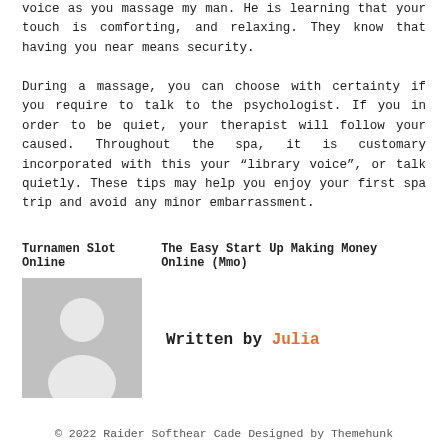voice as you massage my man. He is learning that your touch is comforting, and relaxing. They know that having you near means security.
During a massage, you can choose with certainty if you require to talk to the psychologist. If you in order to be quiet, your therapist will follow your caused. Throughout the spa, it is customary incorporated with this your “library voice”, or talk quietly. These tips may help you enjoy your first spa trip and avoid any minor embarrassment.
Turnamen Slot Online   The Easy Start Up Making Money Online (Mmo)
[Figure (illustration): Gray placeholder avatar image showing a silhouette of a person (head and shoulders) on a gray background]
Written by Julia
© 2022 Raider Softhear Cade Designed by Themehunk